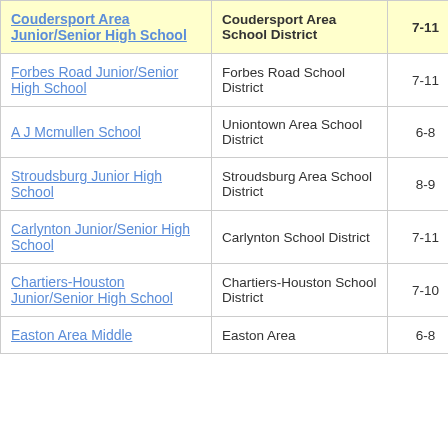| School | District | Grades | Value |
| --- | --- | --- | --- |
| Coudersport Area Junior/Senior High School | Coudersport Area School District | 7-11 | 1. |
| Forbes Road Junior/Senior High School | Forbes Road School District | 7-11 | -4. |
| A J Mcmullen School | Uniontown Area School District | 6-8 | -3. |
| Stroudsburg Junior High School | Stroudsburg Area School District | 8-9 | -2. |
| Carlynton Junior/Senior High School | Carlynton School District | 7-11 | -2. |
| Chartiers-Houston Junior/Senior High School | Chartiers-Houston School District | 7-10 | -2. |
| Easton Area Middle School | Easton Area | 6-8 | -1. |